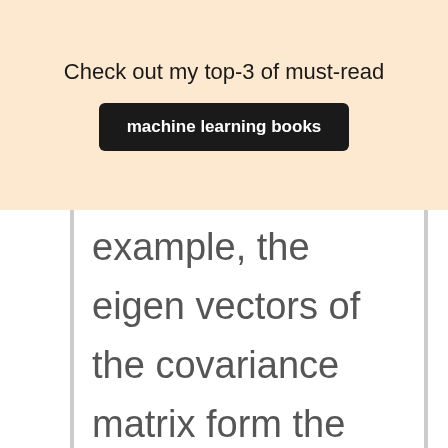Check out my top-3 of must-read
machine learning books
example, the eigenvectors of the covariance matrix form the principal components in PCA. So, basically , the